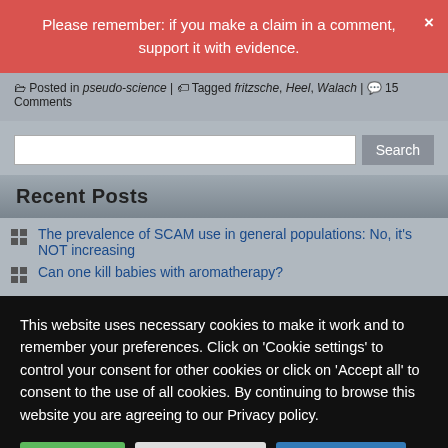Please remember: if you make a claim in a comment, support it with evidence.
Posted in pseudo-science | Tagged fritzsche, Heel, Walach | 15 Comments
Search
Recent Posts
The prevalence of SCAM use in general populations: No, it's NOT increasing
Can one kill babies with aromatherapy?
This website uses necessary cookies to make it work and to remember your preferences. Click on 'Cookie settings' to control your consent for other cookies or click on 'Accept all' to consent to the use of all cookies. By continuing to browse this website you are agreeing to our Privacy policy.
Accept all | Cookie settings | Privacy policy